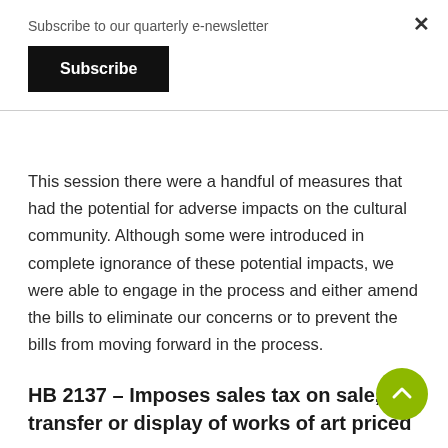Subscribe to our quarterly e-newsletter
Subscribe
This session there were a handful of measures that had the potential for adverse impacts on the cultural community. Although some were introduced in complete ignorance of these potential impacts, we were able to engage in the process and either amend the bills to eliminate our concerns or to prevent the bills from moving forward in the process.
HB 2137 – Imposes sales tax on sale, transfer or display of works of art priced